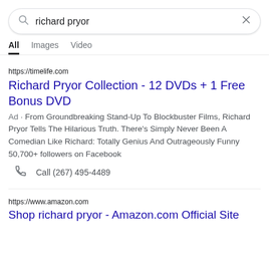[Figure (screenshot): Search bar with query 'richard pryor' and close X button]
All  Images  Video
https://timelife.com
Richard Pryor Collection - 12 DVDs + 1 Free Bonus DVD
Ad · From Groundbreaking Stand-Up To Blockbuster Films, Richard Pryor Tells The Hilarious Truth. There's Simply Never Been A Comedian Like Richard: Totally Genius And Outrageously Funny
50,700+ followers on Facebook
Call (267) 495-4489
https://www.amazon.com
Shop richard pryor - Amazon.com Official Site